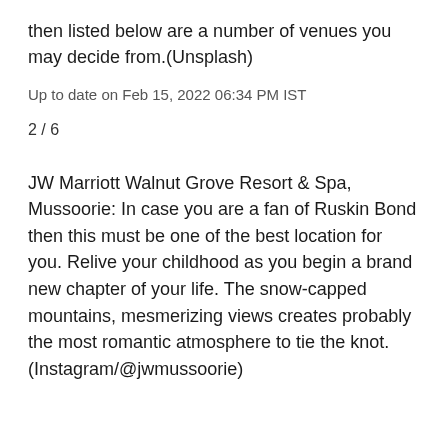then listed below are a number of venues you may decide from.(Unsplash)
Up to date on Feb 15, 2022 06:34 PM IST
2 / 6
JW Marriott Walnut Grove Resort & Spa, Mussoorie: In case you are a fan of Ruskin Bond then this must be one of the best location for you. Relive your childhood as you begin a brand new chapter of your life. The snow-capped mountains, mesmerizing views creates probably the most romantic atmosphere to tie the knot. (Instagram/@jwmussoorie)